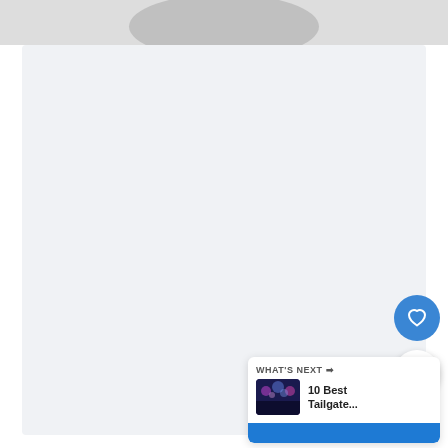[Figure (screenshot): Screenshot of a web page or app UI showing a large light gray content area, a heart (favorite) button in blue, a share button in white with shadow, and a 'What's Next' panel in the bottom right showing '10 Best Tailgate...' with a concert photo thumbnail.]
WHAT'S NEXT →
10 Best
Tailgate...